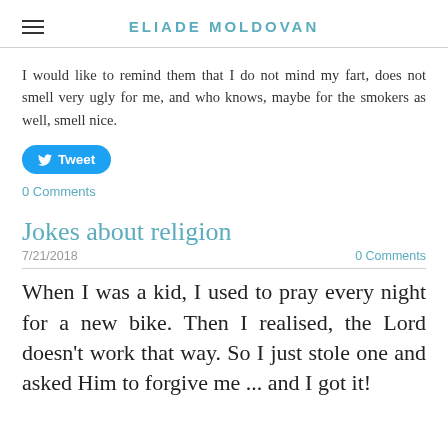ELIADE MOLDOVAN
I would like to remind them that I do not mind my fart, does not smell very ugly for me, and who knows, maybe for the smokers as well, smell nice.
[Figure (other): Tweet button with Twitter bird icon]
0 Comments
Jokes about religion
7/21/2018    0 Comments
When I was a kid, I used to pray every night for a new bike. Then I realised, the Lord doesn't work that way. So I just stole one and asked Him to forgive me ... and I got it!